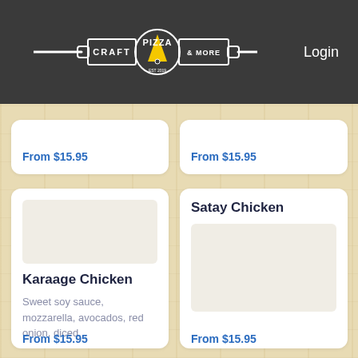CRAFT PIZZA & MORE — Login
From $15.95
From $15.95
Karaage Chicken
Sweet soy sauce, mozzarella, avocados, red onion, diced...
From $15.95
Satay Chicken
From $15.95